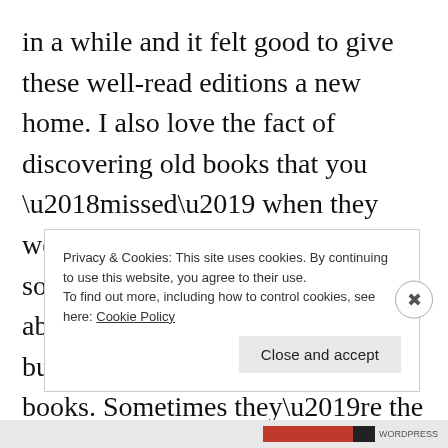in a while and it felt good to give these well-read editions a new home. I also love the fact of discovering old books that you ‘missed’ when they were new. The publishing industry sometimes feels like it’s all about new books and nothing else, but we mustn’t forget older books. Sometimes they’re the best ever.
Privacy & Cookies: This site uses cookies. By continuing to use this website, you agree to their use.
To find out more, including how to control cookies, see here: Cookie Policy